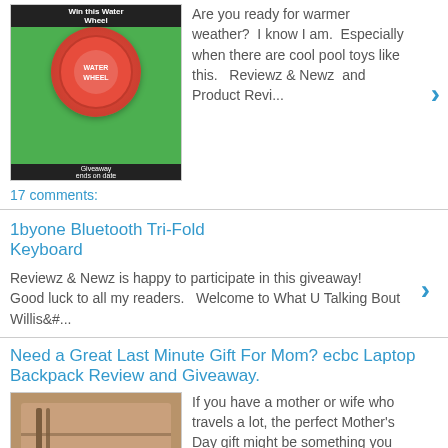[Figure (photo): Green background thumbnail with a circular red pool toy (Water Wheel) and text 'Win this Water Wheel' and 'Giveaway ends on date']
Are you ready for warmer weather?  I know I am.  Especially when there are cool pool toys like this.   Reviewz & Newz  and Product Revi...
17 comments:
1byone Bluetooth Tri-Fold Keyboard
Reviewz & Newz is happy to participate in this giveaway!  Good luck to all my readers.   Welcome to What U Talking Bout Willis&#...
Need a Great Last Minute Gift For Mom? ecbc Laptop Backpack Review and Giveaway.
[Figure (photo): Brown/tan colored laptop backpack close-up photo]
If you have a mother or wife who travels a lot, the perfect Mother's Day gift might be something you haven't even thought of. Mo...